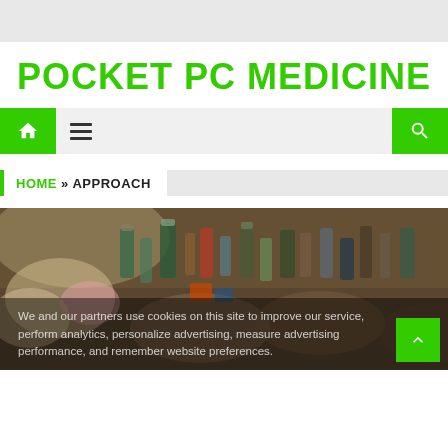POCKET PC MEDICINE
HOME » APPROACH
[Figure (photo): Overhead view of large collection of medicine bottles and bags piled together, including plastic bags, bottles of various colors and sizes, and packages]
We and our partners use cookies on this site to improve our service, perform analytics, personalize advertising, measure advertising performance, and remember website preferences.